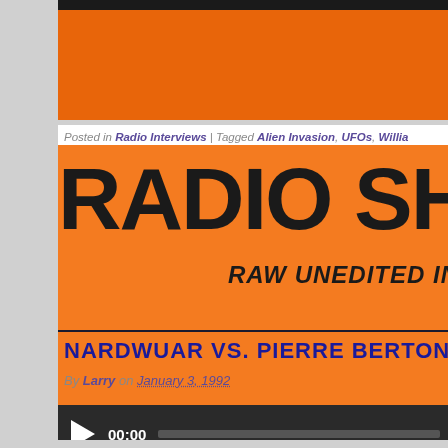Posted in Radio Interviews | Tagged Alien Invasion, UFOs, William...
[Figure (screenshot): Radio Show logo with text 'RADIO SHOW' in large black cartoon font and subtitle 'RAW UNEDITED INTERVIEWS' on orange background]
NARDWUAR VS. PIERRE BERTON
By Larry on January 3, 1992
[Figure (screenshot): Audio player with play button showing 00:00 timestamp on dark background]
Posted in Radio Interviews | Tagged Pierre Berton | Leave a resp...